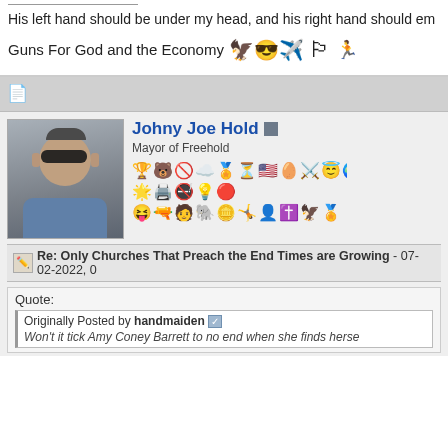His left hand should be under my head, and his right hand should em
Guns For God and the Economy 🦅😎 🏳️
[Figure (screenshot): Forum separator bar with page icon]
Johny Joe Hold — Mayor of Freehold
[Figure (photo): Avatar photo of older man with sunglasses and bow tie]
[Figure (infographic): Row of forum badge/emoji icons]
Re: Only Churches That Preach the End Times are Growing - 07-02-2022, 0
Quote:
Originally Posted by handmaiden
Won't it tick Amy Coney Barrett to no end when she finds herse